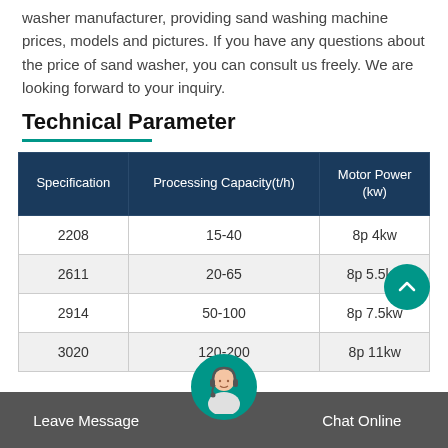washer manufacturer, providing sand washing machine prices, models and pictures. If you have any questions about the price of sand washer, you can consult us freely. We are looking forward to your inquiry.
Technical Parameter
| Specification | Processing Capacity(t/h) | Motor Power (kw) |
| --- | --- | --- |
| 2208 | 15-40 | 8p 4kw |
| 2611 | 20-65 | 8p 5.5kw |
| 2914 | 50-100 | 8p 7.5kw |
| 3020 | 120-200 | 8p 11kw |
Leave Message  Chat Online